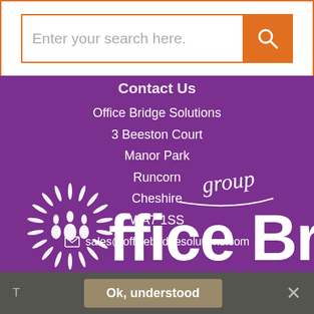[Figure (screenshot): Search bar with text 'Enter your search here.' and an orange search button with magnifying glass icon]
Contact Us
Office Bridge Solutions
3 Beeston Court
Manor Park
Runcorn
Cheshire
WA7 1SS
sales@officebridgesolutions.com
[Figure (logo): Office Bridge group logo in white on purple background, large text 'office Bridge' with 'group' written above in script style, with circular wheat/people emblem on left]
Ok, understood